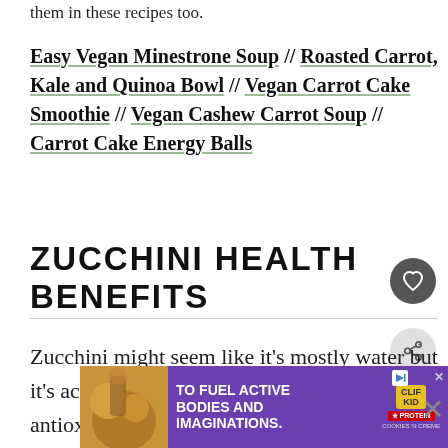them in these recipes too.
Easy Vegan Minestrone Soup // Roasted Carrot, Kale and Quinoa Bowl // Vegan Carrot Cake Smoothie // Vegan Cashew Carrot Soup // Carrot Cake Energy Balls
ZUCCHINI HEALTH BENEFITS
Zucchini might seem like it's mostly water but it's actually high in vitamin C, a powerful antioxidant, high in manganese, which protects your cells from oxidative damage, and it
[Figure (screenshot): WHAT'S NEXT arrow, Blueberry Coconut... thumbnail overlay]
[Figure (screenshot): Advertisement banner: TO FUEL ACTIVE BODIES AND IMAGINATIONS. CLIF KID protein bar ad with close X button]